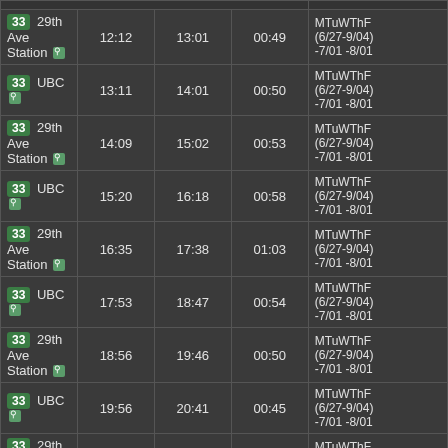| Route/Destination | Departure | Arrival | Duration | Days |
| --- | --- | --- | --- | --- |
| 33 29th Ave Station | 12:12 | 13:01 | 00:49 | MTuWThF (6/27-9/04) -7/01 -8/01 |
| 33 UBC | 13:11 | 14:01 | 00:50 | MTuWThF (6/27-9/04) -7/01 -8/01 |
| 33 29th Ave Station | 14:09 | 15:02 | 00:53 | MTuWThF (6/27-9/04) -7/01 -8/01 |
| 33 UBC | 15:20 | 16:18 | 00:58 | MTuWThF (6/27-9/04) -7/01 -8/01 |
| 33 29th Ave Station | 16:35 | 17:38 | 01:03 | MTuWThF (6/27-9/04) -7/01 -8/01 |
| 33 UBC | 17:53 | 18:47 | 00:54 | MTuWThF (6/27-9/04) -7/01 -8/01 |
| 33 29th Ave Station | 18:56 | 19:46 | 00:50 | MTuWThF (6/27-9/04) -7/01 -8/01 |
| 33 UBC | 19:56 | 20:41 | 00:45 | MTuWThF (6/27-9/04) -7/01 -8/01 |
| 33 29th Ave Station | 20:59 | 21:45 | 00:46 | MTuWThF (6/27-9/04) -7/01 -8/01 |
| 33 UBC | 21:56 | 22:41 | 00:45 | MTuWThF (6/27-9/04) -7/01 -8/01 |